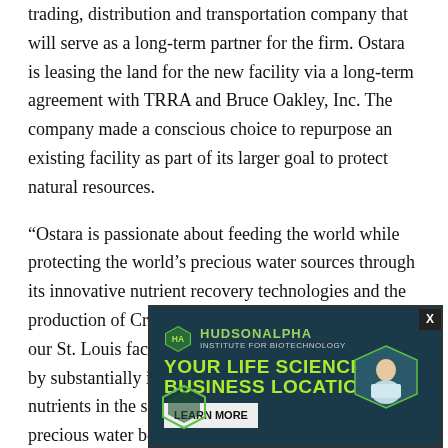trading, distribution and transportation company that will serve as a long-term partner for the firm. Ostara is leasing the land for the new facility via a long-term agreement with TRRA and Bruce Oakley, Inc. The company made a conscious choice to repurpose an existing facility as part of its larger goal to protect natural resources.
“Ostara is passionate about feeding the world while protecting the world’s precious water sources through its innovative nutrient recovery technologies and the production of Crystal Green. Fertilizer produced at our St. Louis facility will impact acres across the U.S. by substantially improving crop yields and by keeping nutrients in the soil instead of leaching into our precious water bodies,” Parmar added.
“Ostara’s products and vision dovetail with St. Louis’ strengths,” said Johnson. … long served as … agtech assets wi… e
[Figure (other): HudsonAlpha Institute for Biotechnology advertisement overlay reading 'YOUR LIFE SCIENCES BUSINESS LOCATION' with a LEARN MORE button, featuring hexagonal graphics and a photo of a scientist.]